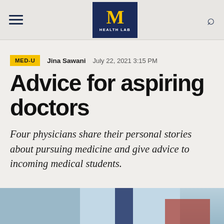Michigan Health Lab navigation header with hamburger menu, M Health Lab logo, and search icon
MED-U  Jina Sawani  July 22, 2021 3:15 PM
Advice for aspiring doctors
Four physicians share their personal stories about pursuing medicine and give advice to incoming medical students.
[Figure (photo): Cropped photo of a person wearing a light blue dress shirt and navy blue tie, with partial view of another person in red in the background]